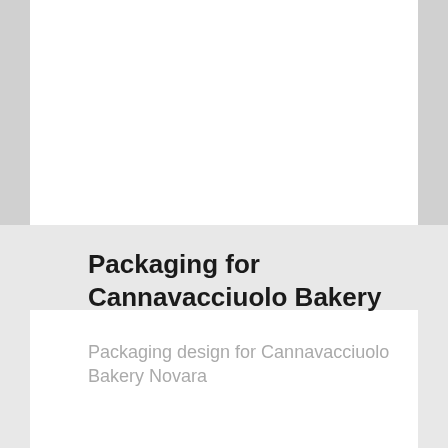Packaging for Cannavacciuolo Bakery
Packaging design for Cannavacciuolo Bakery Novara